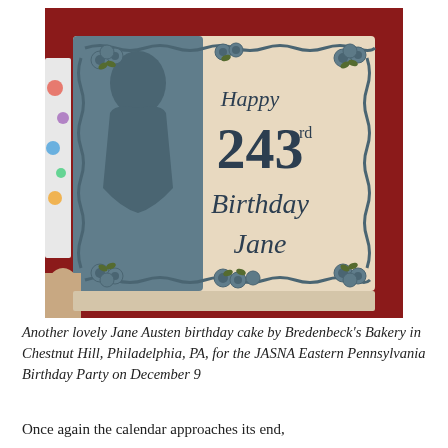[Figure (photo): A rectangular birthday cake with cream-colored frosting, featuring a teal/blue silhouette of Jane Austen on the left half, and script writing on the right reading 'Happy 243rd Birthday Jane' in dark frosting, decorated with blue rosette flowers and green leaves at the corners and top edge. The cake is on a dark red surface with colorful party napkins visible on the left side.]
Another lovely Jane Austen birthday cake by Bredenbeck's Bakery in Chestnut Hill, Philadelphia, PA, for the JASNA Eastern Pennsylvania Birthday Party on December 9
Once again the calendar approaches its end,